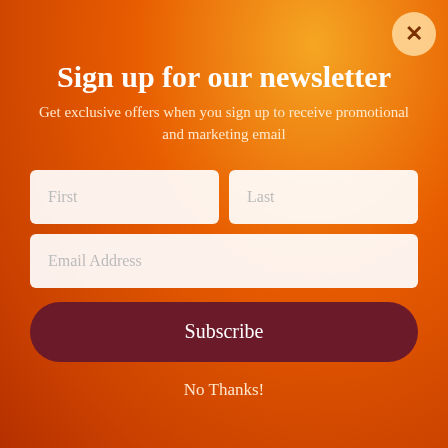Sign up for our newsletter
Get exclusive offers when you sign up to receive promotional and marketing email
[Figure (screenshot): Newsletter signup form with First, Last, and Email Address input fields]
Subscribe
No Thanks!